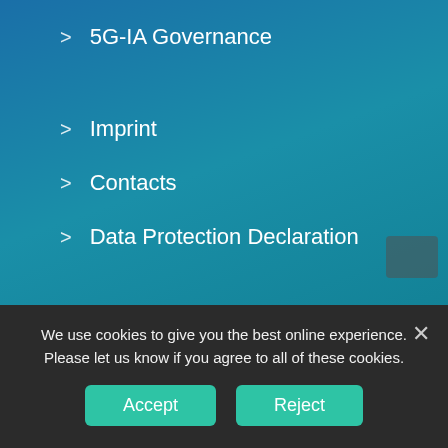> 5G-IA Governance
> Imprint
> Contacts
> Data Protection Declaration
> 5G-PPP Events
> 5G-PPP on Twitter
> 5G-PPP on YouTube (partial)
We use cookies to give you the best online experience. Please let us know if you agree to all of these cookies.
Accept
Reject